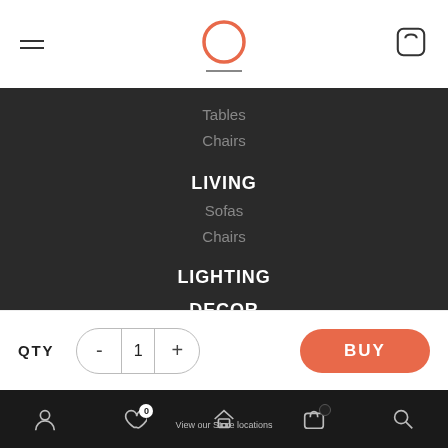Navigation header with hamburger menu, logo circle, and cart icon
Tables
Chairs
LIVING
Sofas
Chairs
LIGHTING
DECOR
Customer Care
Mon - Sat | 10:30 am - 6:00 pm (IST)
+91 9001190790
QTY  -  1  +  BUY
View our Store locations